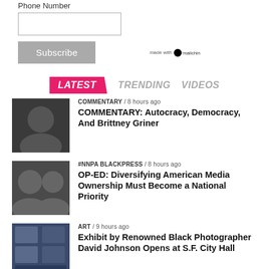Phone Number
[phone input field]
Subscribe | made with Mailchimp
LATEST   TRENDING   VIDEOS
COMMENTARY / 8 hours ago
COMMENTARY: Autocracy, Democracy, And Brittney Griner
#NNPA BLACKPRESS / 8 hours ago
OP-ED: Diversifying American Media Ownership Must Become a National Priority
ART / 9 hours ago
Exhibit by Renowned Black Photographer David Johnson Opens at S.F. City Hall